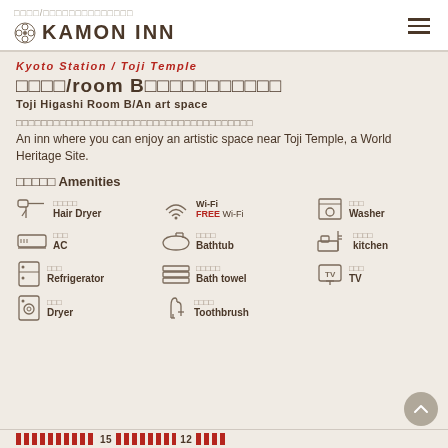□□□□/□□□□□□□□□□□□□□ KAMON INN
Kyoto Station / Toji Temple
□□□□/room B□□□□□□□□□□□
Toji Higashi Room B/An art space
□□□□□□□□□□□□□□□□□□□□□□□□□□□□□□□□□□□□□□
An inn where you can enjoy an artistic space near Toji Temple, a World Heritage Site.
□□□□□ Amenities
Hair Dryer
Wi-Fi / FREE Wi-Fi
Washer
AC
Bathtub
kitchen
Refrigerator
Bath towel
TV
Dryer
Toothbrush
□□□□□□□□□□15□□□□□□□□□□12□□□